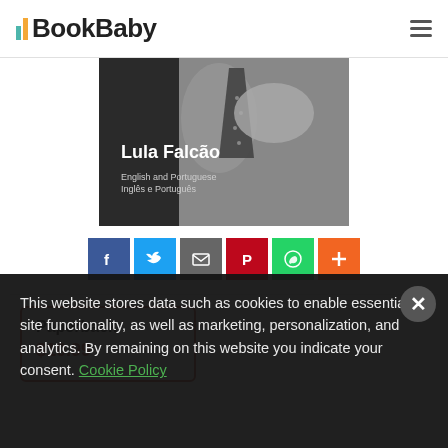BookBaby
[Figure (photo): Book cover showing a man tying a tie in black and white, with text 'Lula Falcão' and 'English and Portuguese / Inglês e Português']
[Figure (infographic): Social share buttons: Facebook, Twitter, Email, Pinterest, WhatsApp, Plus]
Paperback
$10.99
This website stores data such as cookies to enable essential site functionality, as well as marketing, personalization, and analytics. By remaining on this website you indicate your consent. Cookie Policy